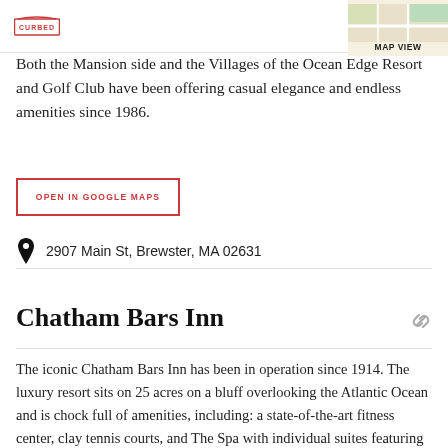CURBED | MAP VIEW
Both the Mansion side and the Villages of the Ocean Edge Resort and Golf Club have been offering casual elegance and endless amenities since 1986.
OPEN IN GOOGLE MAPS
2907 Main St, Brewster, MA 02631
Chatham Bars Inn
The iconic Chatham Bars Inn has been in operation since 1914. The luxury resort sits on 25 acres on a bluff overlooking the Atlantic Ocean and is chock full of amenities, including: a state-of-the-art fitness center, clay tennis courts, and The Spa with individual suites featuring hydrotherapy tubs, saunas, steam showers, and the Chatham Bars Inn